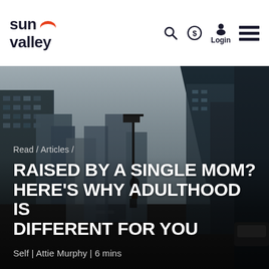sun valley — logo with search, login, and menu icons
[Figure (photo): City street scene with tall buildings and a person walking viewed from behind, urban cityscape with overcast sky]
Read / Articles /
RAISED BY A SINGLE MOM? HERE'S WHY ADULTHOOD IS DIFFERENT FOR YOU
Self | Attie Murphy | 6 mins